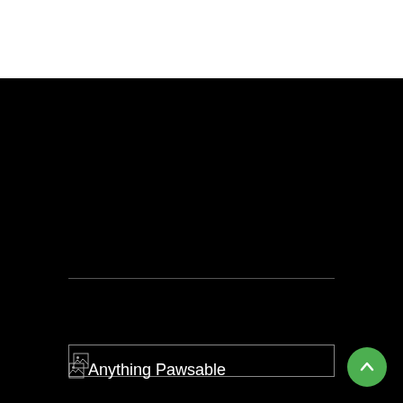[Figure (other): Top white region — blank content area at top of page]
[Figure (other): Black background section with a horizontal divider line, a broken image placeholder box, a broken-image logo with text 'Anything Pawsable', and a green scroll-to-top button with an upward arrow]
Anything Pawsable